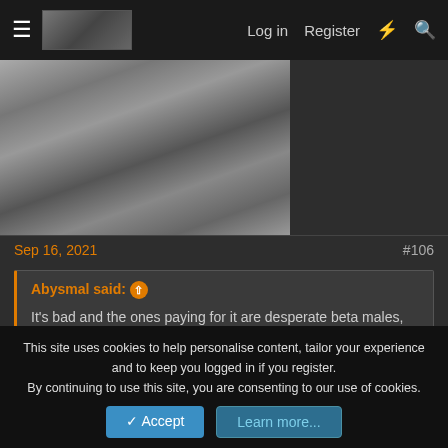Log in   Register
[Figure (photo): Black and white photo of a person, cropped to show torso/legs area]
Sep 16, 2021    #106
Abysmal said: ↑
It's bad and the ones paying for it are desperate beta males, risk of STDs + emotionless sex is not worth the money + time.
But should it be illegal?
Post automatically merged: Sep 16, 2021
This site uses cookies to help personalise content, tailor your experience and to keep you logged in if you register.
By continuing to use this site, you are consenting to our use of cookies.